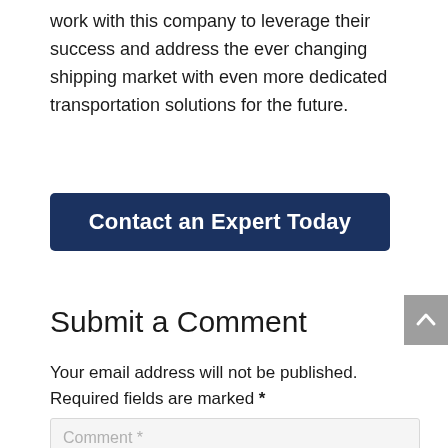work with this company to leverage their success and address the ever changing shipping market with even more dedicated transportation solutions for the future.
[Figure (other): Dark blue call-to-action button with white bold text reading 'Contact an Expert Today']
Submit a Comment
Your email address will not be published. Required fields are marked *
Comment *